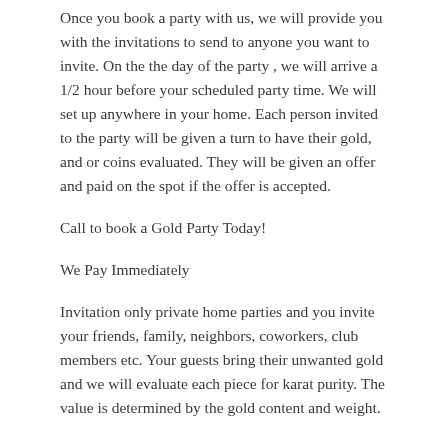Once you book a party with us, we will provide you with the invitations to send to anyone you want to invite. On the the day of the party , we will arrive a 1/2 hour before your scheduled party time. We will set up anywhere in your home. Each person invited to the party will be given a turn to have their gold, and or coins evaluated. They will be given an offer and paid on the spot if the offer is accepted.
Call to book a Gold Party Today!
We Pay Immediately
Invitation only private home parties and you invite your friends, family, neighbors, coworkers, club members etc. Your guests bring their unwanted gold and we will evaluate each piece for karat purity. The value is determined by the gold content and weight.